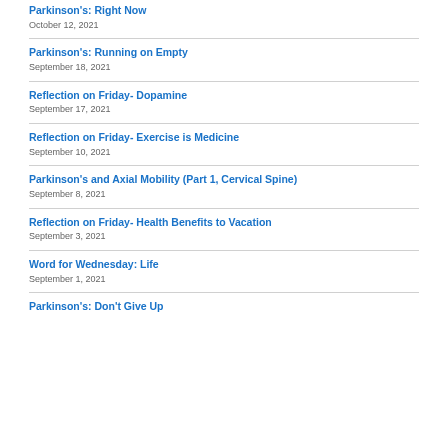Parkinson's: Right Now
October 12, 2021
Parkinson's: Running on Empty
September 18, 2021
Reflection on Friday- Dopamine
September 17, 2021
Reflection on Friday- Exercise is Medicine
September 10, 2021
Parkinson's and Axial Mobility (Part 1, Cervical Spine)
September 8, 2021
Reflection on Friday- Health Benefits to Vacation
September 3, 2021
Word for Wednesday: Life
September 1, 2021
Parkinson's: Don't Give Up